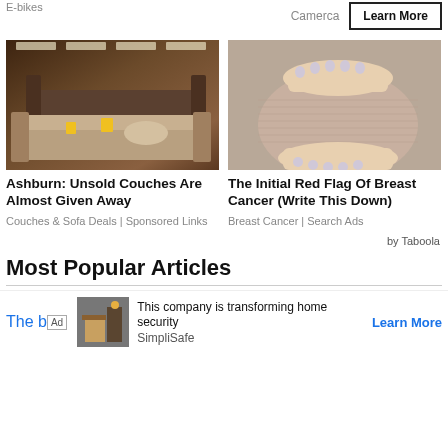E-bikes
Camerca
Learn More
[Figure (photo): Furniture showroom with rows of sofas and yellow sale tags]
Ashburn: Unsold Couches Are Almost Given Away
Couches & Sofa Deals | Sponsored Links
[Figure (photo): Pregnant woman holding baby bump with white-painted nails]
The Initial Red Flag Of Breast Cancer (Write This Down)
Breast Cancer | Search Ads
by Taboola
Most Popular Articles
This company is transforming home security
SimpliSafe
Learn More